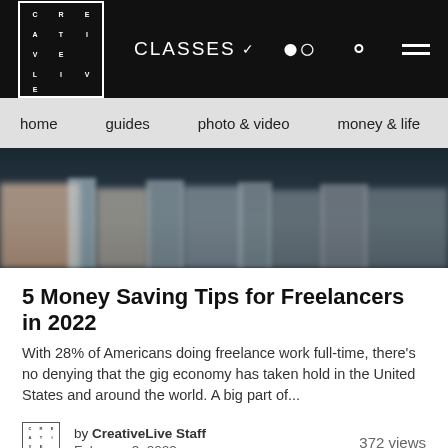CreativeLive — CLASSES — Search — Menu
home   guides   photo & video   money & life
[Figure (photo): Blurred bokeh image of books on a shelf with dark teal/navy background and warm-toned blurred shapes]
5 Money Saving Tips for Freelancers in 2022
With 28% of Americans doing freelance work full-time, there's no denying that the gig economy has taken hold in the United States and around the world. A big part of...
by CreativeLive Staff
February 3, 2022
372 views
[Figure (photo): Bottom portion of a photo showing a wooden shelf with jars and small objects on it]